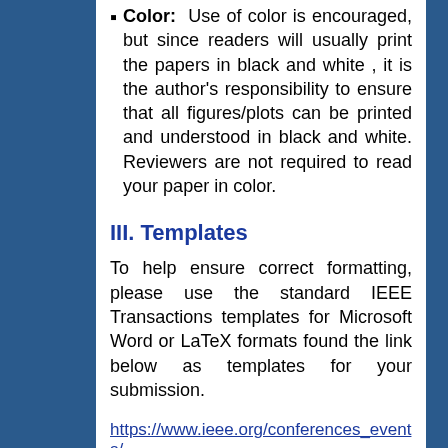Color: Use of color is encouraged, but since readers will usually print the papers in black and white , it is the author's responsibility to ensure that all figures/plots can be printed and understood in black and white. Reviewers are not required to read your paper in color.
III. Templates
To help ensure correct formatting, please use the standard IEEE Transactions templates for Microsoft Word or LaTeX formats found the link below as templates for your submission.
https://www.ieee.org/conferences_events/
As the page indicates, IEEE has recently revised their LaTeX